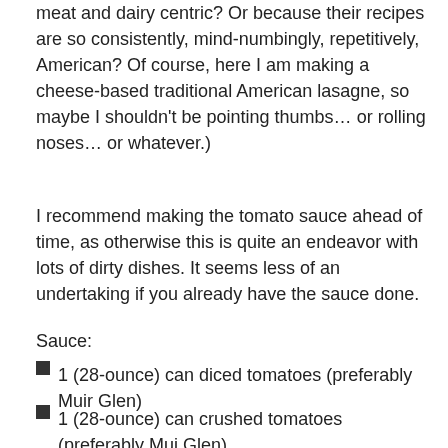meat and dairy centric? Or because their recipes are so consistently, mind-numbingly, repetitively, American? Of course, here I am making a cheese-based traditional American lasagne, so maybe I shouldn't be pointing thumbs… or rolling noses… or whatever.)
I recommend making the tomato sauce ahead of time, as otherwise this is quite an endeavor with lots of dirty dishes. It seems less of an undertaking if you already have the sauce done.
Sauce:
1 (28-ounce) can diced tomatoes (preferably Muir Glen)
1 (28-ounce) can crushed tomatoes (preferably Mui Glen)